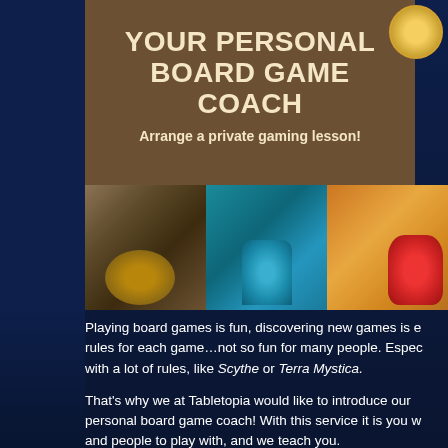YOUR PERSONAL BOARD GAME COACH
Arrange a private gaming lesson!
[Figure (photo): Three board game miniature photos side by side: a dungeon/cave miniature scene, a blue 3D game building piece, and a red crab-like game piece on an orange background]
Playing board games is fun, discovering new games is e... rules for each game…not so fun for many people. Espec... with a lot of rules, like Scythe or Terra Mystica.
That's why we at Tabletopia would like to introduce our... personal board game coach! With this service it is you w... and people to play with, and we teach you.
How this works: